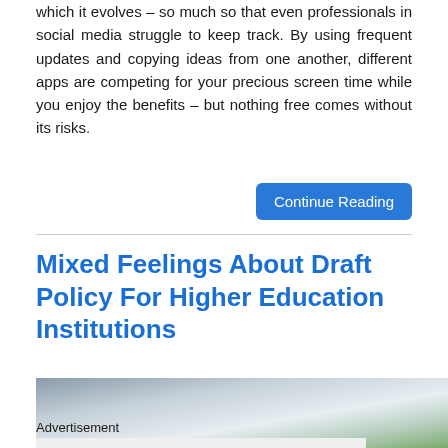which it evolves – so much so that even professionals in social media struggle to keep track. By using frequent updates and copying ideas from one another, different apps are competing for your precious screen time while you enjoy the benefits – but nothing free comes without its risks.
Continue Reading
Mixed Feelings About Draft Policy For Higher Education Institutions
[Figure (photo): Partial view of an outdoor scene showing blurred background with blue and green tones, partially obscured by an advertisement overlay.]
Advertisement